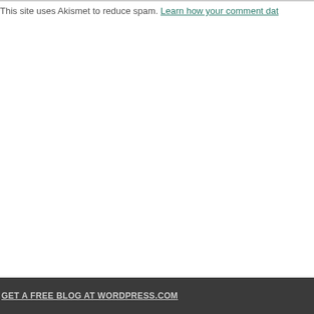This site uses Akismet to reduce spam. Learn how your comment dat…
[Figure (other): Vertical dark teal/green line running from approximately 60% down the page to near the footer area]
GET A FREE BLOG AT WORDPRESS.COM